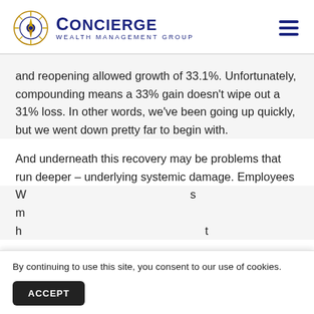Concierge Wealth Management Group
and reopening allowed growth of 33.1%. Unfortunately, compounding means a 33% gain doesn’t wipe out a 31% loss. In other words, we’ve been going up quickly, but we went down pretty far to begin with.
And underneath this recovery may be problems that run deeper – underlying systemic damage. Employees w... s m... h... t
By continuing to use this site, you consent to our use of cookies.